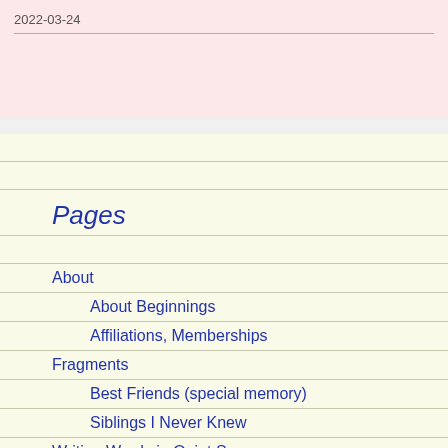2022-03-24
Pages
About
About Beginnings
Affiliations, Memberships
Fragments
Best Friends (special memory)
Siblings I Never Knew
Writing Words in Quiet Spaces